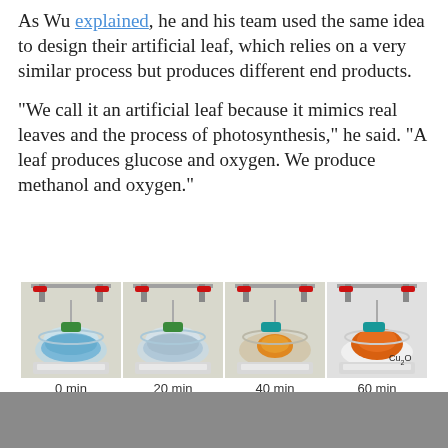As Wu explained, he and his team used the same idea to design their artificial leaf, which relies on a very similar process but produces different end products.
"We call it an artificial leaf because it mimics real leaves and the process of photosynthesis," he said. "A leaf produces glucose and oxygen. We produce methanol and oxygen."
[Figure (photo): Four time-lapse lab photos of a chemical reaction in a glass bowl on a hot plate, showing color change from blue to orange/red. Labels: 0 min, 20 min, 40 min, 60 min. Final image labeled Cu2O. A horizontal arrow spans the bottom.]